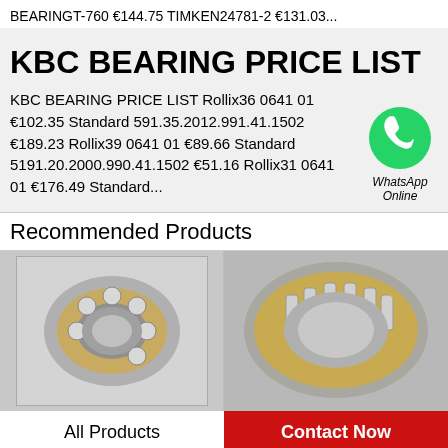BEARINGT-760 €144.75 TIMKEN24781-2 €131.03...
KBC BEARING PRICE LIST
KBC BEARING PRICE LIST Rollix36 0641 01 €102.35 Standard 591.35.2012.991.41.1502 €189.23 Rollix39 0641 01 €89.66 Standard 5191.20.2000.990.41.1502 €51.16 Rollix31 0641 01 €176.49 Standard...
[Figure (logo): WhatsApp green circle icon with phone handset, labeled WhatsApp Online]
Recommended Products
[Figure (photo): Close-up photo of a ball bearing with gold/brass cage on grey background inside a grey bordered box]
[Figure (photo): Close-up photo of a cylindrical roller bearing with gold/brass cage on grey background]
All Products
Contact Now